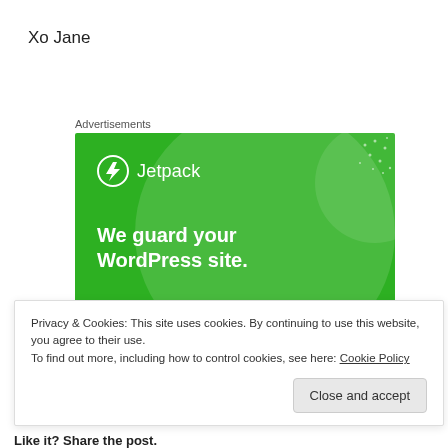Xo Jane
Advertisements
[Figure (illustration): Jetpack advertisement banner with green background, large white circle graphic, Jetpack logo with lightning bolt icon, and white bold text: 'We guard your WordPress site. You run your business.']
Privacy & Cookies: This site uses cookies. By continuing to use this website, you agree to their use.
To find out more, including how to control cookies, see here: Cookie Policy
Like it? Share the post.